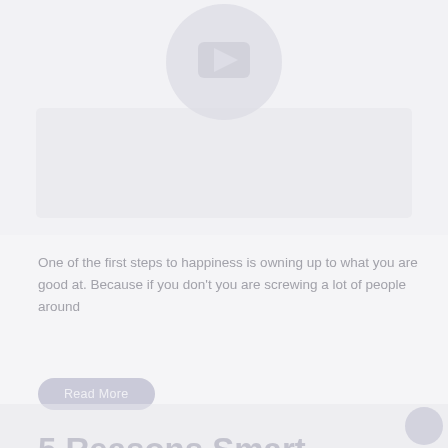[Figure (illustration): Faded circular avatar/profile image at top center, with a light rounded rectangle card area below it, all rendered in muted gray tones]
One of the first steps to happiness is owning up to what you are good at. Because if you don't you are screwing a lot of people around
Read More
5 Reasons Smart Marketers Don't Sell Hype
[Figure (illustration): Faded bottom bar with a small circular avatar at the bottom right corner]